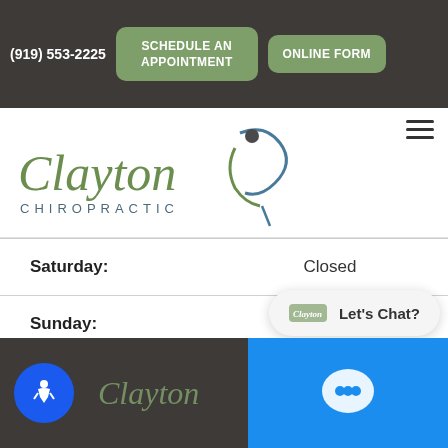(919) 553-2225  SCHEDULE AN APPOINTMENT  ONLINE FORM
[Figure (logo): Clayton Chiropractic logo with stylized figure and text]
| Day | Hours |
| --- | --- |
| Saturday: | Closed |
| Sunday: | Closed |
[Figure (screenshot): Let's Chat? chat widget bubble with Clayton Chiropractic logo]
Clayton Chiropractic footer with accessibility icon and chat button